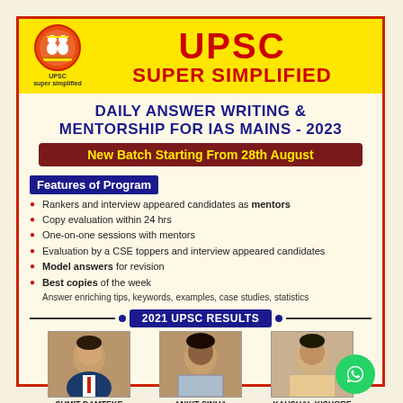UPSC SUPER SIMPLIFIED
DAILY ANSWER WRITING & MENTORSHIP FOR IAS MAINS - 2023
New Batch Starting From 28th August
Features of Program
Rankers and interview appeared candidates as mentors
Copy evaluation within 24 hrs
One-on-one sessions with mentors
Evaluation by a CSE toppers and interview appeared candidates
Model answers for revision
Best copies of the week
Answer enriching tips, keywords, examples, case studies, statistics
2021 UPSC RESULTS
[Figure (photo): Photo of Sumit Damteke]
[Figure (photo): Photo of Ankit Sinha]
[Figure (photo): Photo of Kaushal Kishore]
SUMIT DAMTEKE
ANKIT SINHA
KAUSHAL KISHORE